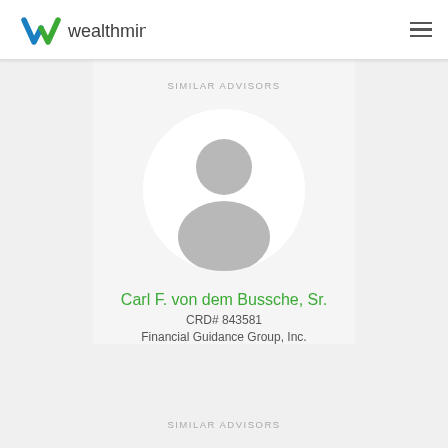[Figure (logo): Wealthminder logo with W mark in blue and green, followed by text 'wealthminder' in dark gray]
SIMILAR ADVISORS
[Figure (photo): Generic gray silhouette avatar of a person inside a white circle]
Carl F. von dem Bussche, Sr.
CRD# 843581
Financial Guidance Group, Inc.
SIMILAR ADVISORS